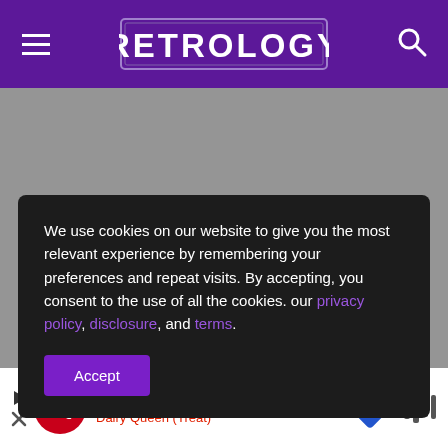RETROLOGY
We use cookies on our website to give you the most relevant experience by remembering your preferences and repeat visits. By accepting, you consent to the use of all the cookies. our privacy policy, disclosure, and terms.
Accept
with the key from the level below. Open the chest using the key.
DQ® Signature Stackburger Menu Dairy Queen (Treat)